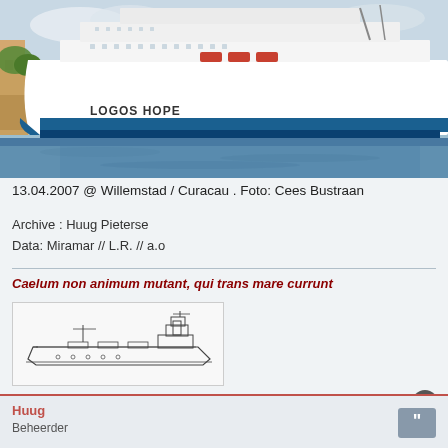[Figure (photo): Large white cruise/mission ship named 'Logos Hope' with blue hull stripe, docked at port in Willemstad, Curacao. Sky is partly cloudy, harbor water visible in foreground.]
13.04.2007 @ Willemstad / Curacau . Foto: Cees Bustraan
Archive : Huug Pieterse
Data: Miramar // L.R. // a.o
Caelum non animum mutant, qui trans mare currunt
[Figure (illustration): Black and white line drawing/sketch of a cargo ship, side profile view.]
Huug
Huug
Beheerder